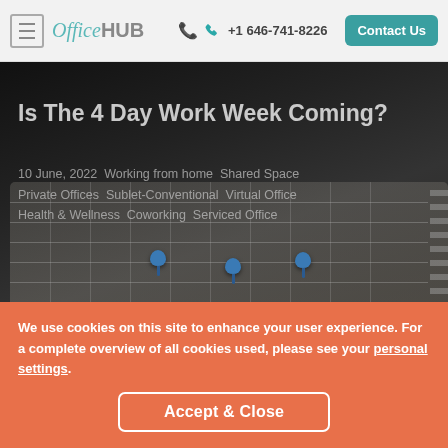OfficeHUB | +1 646-741-8226 | Contact Us
[Figure (photo): Dark moody background with a spiral-bound calendar/planner open showing a grid of days with blue push pins stuck into the dates. The image is dimly lit with a dark overlay.]
Is The 4 Day Work Week Coming?
10 June, 2022  Working from home  Shared Space  Private Offices  Sublet-Conventional  Virtual Office  Health & Wellness  Coworking  Serviced Office
We use cookies on this site to enhance your user experience. For a complete overview of all cookies used, please see your personal settings.
Accept & Close